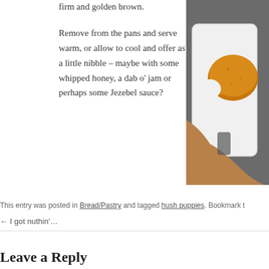firm and golden brown.
Remove from the pans and serve warm, or allow to cool and offer as a little nibble – maybe with some whipped honey, a dab o' jam or perhaps some Jezebel sauce?
[Figure (photo): Close-up photo of golden-brown hush puppies in a white baking dish, held by a hand, on a dark stone surface.]
This entry was posted in Bread/Pastry and tagged hush puppies. Bookmark t
← I got nuthin'…
Leave a Reply